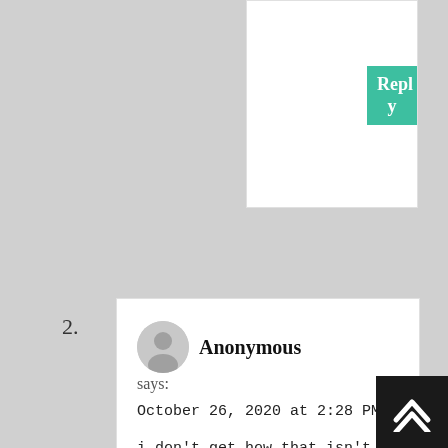[Figure (other): Partially visible comment card from previous comment with a teal Reply button clipped at top-right]
2.
[Figure (other): Grey circular avatar placeholder with silhouette icon]
Anonymous
says:
October 26, 2020 at 2:28 PM
i don't get how that isn't your first assumption, it's pretty obvious
Reply
[Figure (other): Back to top button with double chevron up arrow on dark background, bottom-right corner]